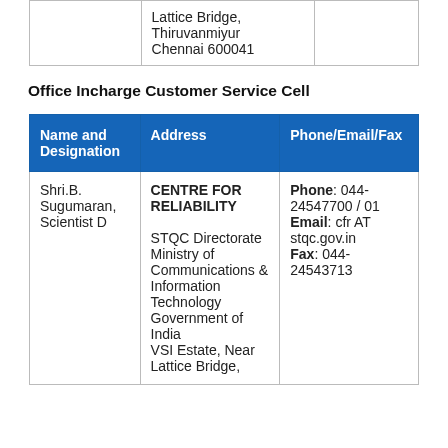|  | Lattice Bridge,
Thiruvanmiyur
Chennai 600041 |  |
Office Incharge Customer Service Cell
| Name and Designation | Address | Phone/Email/Fax |
| --- | --- | --- |
| Shri.B. Sugumaran, Scientist D | CENTRE FOR RELIABILITY

STQC Directorate Ministry of Communications & Information Technology Government of India
VSI Estate, Near Lattice Bridge, | Phone: 044-24547700 / 01
Email: cfr AT stqc.gov.in
Fax: 044-24543713 |